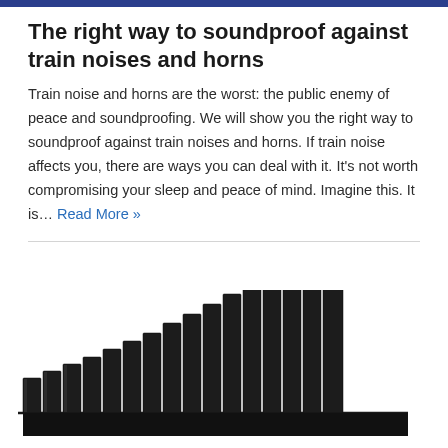The right way to soundproof against train noises and horns
Train noise and horns are the worst: the public enemy of peace and soundproofing. We will show you the right way to soundproof against train noises and horns. If train noise affects you, there are ways you can deal with it. It's not worth compromising your sleep and peace of mind. Imagine this. It is… Read More »
[Figure (photo): A pan flute (set of graduated black pipes arranged in ascending height from left to right), cropped, visible in the lower right portion of the image area.]